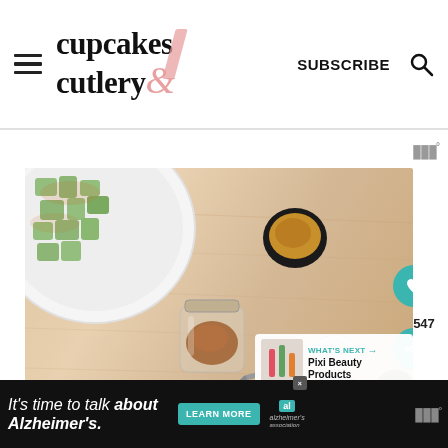cupcakes & cutlery — SUBSCRIBE
[Figure (photo): Overhead flat-lay photo on a light wood surface showing a white bowl with chopped green apples and cinnamon, a small black round container with peanut butter, an open glass jar of cinnamon, and a measuring spoon]
547
WHAT'S NEXT → Pixi Beauty Products
[Figure (advertisement): Ad banner: It's time to talk about Alzheimer's. LEARN MORE. Alzheimer's association logo.]